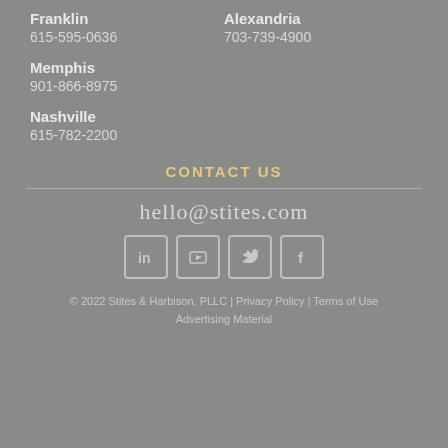Franklin
615-595-0636
Alexandria
703-739-4900
Memphis
901-866-8975
Nashville
615-782-2200
CONTACT US
hello@stites.com
[Figure (other): Social media icons: LinkedIn, YouTube, Twitter, Facebook]
© 2022 Stites & Harbison, PLLC | Privacy Policy | Terms of Use Advertising Material